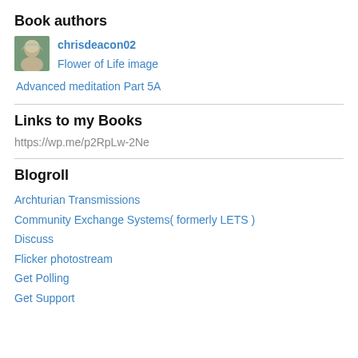Book authors
[Figure (photo): Profile photo of chrisdeacon02, a person with grey/blonde hair outdoors]
chrisdeacon02
Flower of Life image
Advanced meditation Part 5A
Links to my Books
https://wp.me/p2RpLw-2Ne
Blogroll
Archturian Transmissions
Community Exchange Systems( formerly LETS )
Discuss
Flicker photostream
Get Polling
Get Support